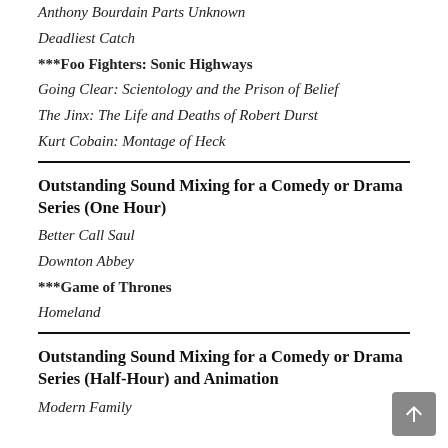Anthony Bourdain Parts Unknown
Deadliest Catch
***Foo Fighters: Sonic Highways
Going Clear: Scientology and the Prison of Belief
The Jinx: The Life and Deaths of Robert Durst
Kurt Cobain: Montage of Heck
Outstanding Sound Mixing for a Comedy or Drama Series (One Hour)
Better Call Saul
Downton Abbey
***Game of Thrones
Homeland
Outstanding Sound Mixing for a Comedy or Drama Series (Half-Hour) and Animation
Modern Family